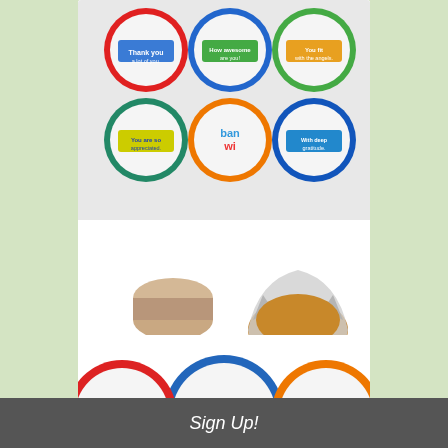[Figure (photo): Product photo showing Thank You Cookie Talk 9pc Chocolate Oreo Box — top portion shows colorful foil-wrapped chocolate oreos with thank you messages in a grid, bottom portion shows chocolate covered oreos, macarons, and a foil-wrapped chocolate piece]
Thank You Cookie Talk 9pc Chocolate Oreo Box
$19.99
Not Rated
[Figure (photo): Partial product photo showing colorful foil-wrapped chocolate oreos with thank you messages, partially cropped]
Sign Up!